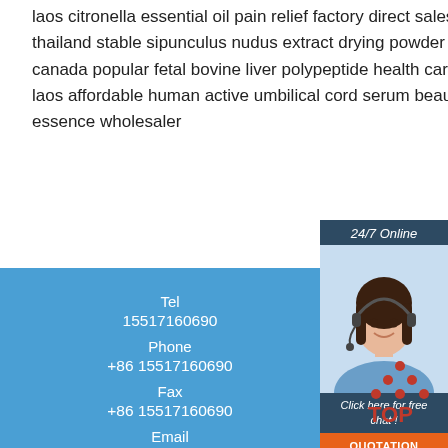laos citronella essential oil pain relief factory direct sales thailand stable sipunculus nudus extract drying powder canada popular fetal bovine liver polypeptide health care laos affordable human active umbilical cord serum beauty essence wholesaler
[Figure (photo): Customer service representative woman with headset smiling, with '24/7 Online' header, 'Click here for free chat!' text, and orange QUOTATION button]
Tel
15517160690
Phone
+86 15517160690
Fax
+86 15517160690
Email
kongweihui01@gmail.com
Address:
[Figure (logo): TOP logo with orange dots arranged in triangle above letters TOP]